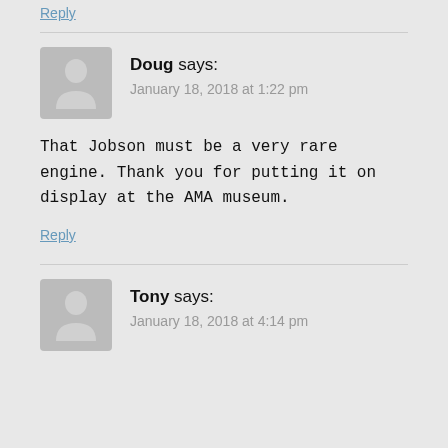Reply
Doug says:
January 18, 2018 at 1:22 pm
That Jobson must be a very rare engine. Thank you for putting it on display at the AMA museum.
Reply
Tony says:
January 18, 2018 at 4:14 pm